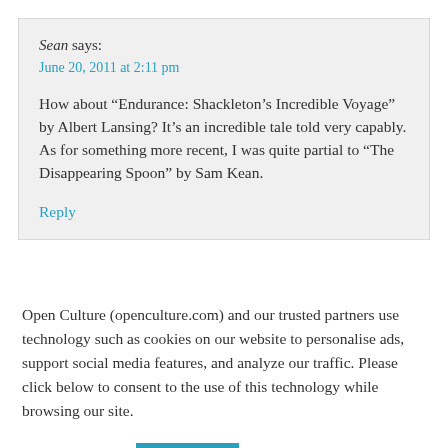Sean says:
June 20, 2011 at 2:11 pm
How about “Endurance: Shackleton’s Incredible Voyage” by Albert Lansing? It’s an incredible tale told very capably. As for something more recent, I was quite partial to “The Disappearing Spoon” by Sam Kean.
Reply
Open Culture (openculture.com) and our trusted partners use technology such as cookies on our website to personalise ads, support social media features, and analyze our traffic. Please click below to consent to the use of this technology while browsing our site.
Cookie settings
ACCEPT